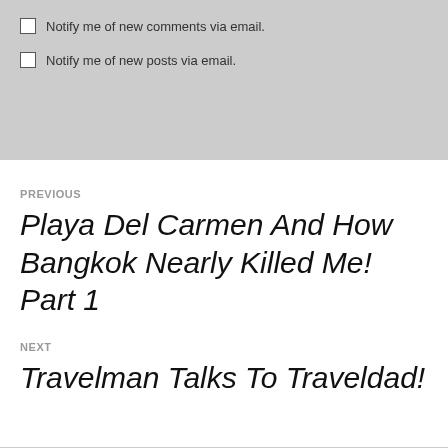Notify me of new comments via email.
Notify me of new posts via email.
PREVIOUS
Playa Del Carmen And How Bangkok Nearly Killed Me! Part 1
NEXT
Travelman Talks To Traveldad!